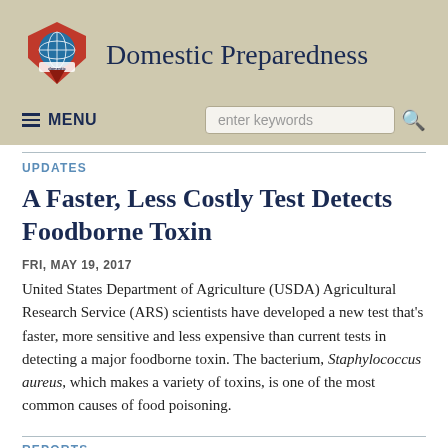[Figure (logo): Domestic Preparedness website header with logo (shield/badge with globe) and site name]
Domestic Preparedness
UPDATES
A Faster, Less Costly Test Detects Foodborne Toxin
FRI, MAY 19, 2017
United States Department of Agriculture (USDA) Agricultural Research Service (ARS) scientists have developed a new test that's faster, more sensitive and less expensive than current tests in detecting a major foodborne toxin. The bacterium, Staphylococcus aureus, which makes a variety of toxins, is one of the most common causes of food poisoning.
REPORTS